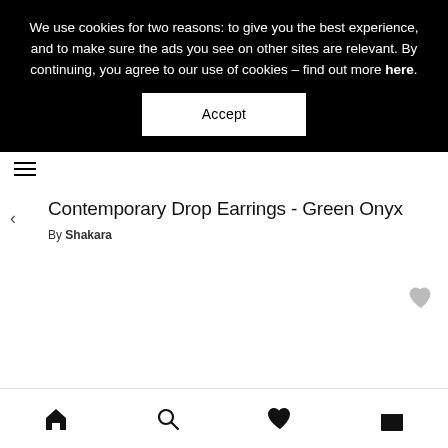We use cookies for two reasons: to give you the best experience, and to make sure the ads you see on other sites are relevant. By continuing, you agree to our use of cookies – find out more here.
Accept
[Figure (other): Hamburger menu icon (three horizontal lines)]
Contemporary Drop Earrings - Green Onyx
By Shakara
[Figure (other): Heart/wishlist icon (grey)]
[Figure (other): Bottom navigation bar with home, search, heart, and bag icons]